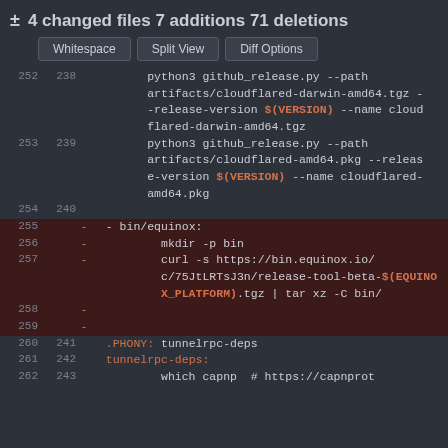± 4 changed files 7 additions 71 deletions
Whitespace | Split View | Diff Options
| old_ln | new_ln | op | code |
| --- | --- | --- | --- |
| 252 | 238 |  |         python3 github_release.py --path artifacts/cloudflared-darwin-amd64.tgz --release-version $(VERSION) --name cloudflared-darwin-amd64.tgz |
| 253 | 239 |  |         python3 github_release.py --path artifacts/cloudflared-amd64.pkg --release-version $(VERSION) --name cloudflared-amd64.pkg |
| 254 | 240 |  |  |
| 255 |  | - |   - bin/equinox: |
| 256 |  | - |           mkdir -p bin |
| 257 |  | - |           curl -s https://bin.equinox.io/c/75JtLRTsJ3n/release-tool-beta-$(EQUINOX_PLATFORM).tgz | tar xz -C bin/ |
| 258 |  | - |  |
| 259 |  | - |  |
| 260 | 241 |  |   .PHONY: tunnelrpc-deps |
| 261 | 242 |  |   tunnelrpc-deps: |
| 262 | 243 |  |           which capnp  # https://capnprot |